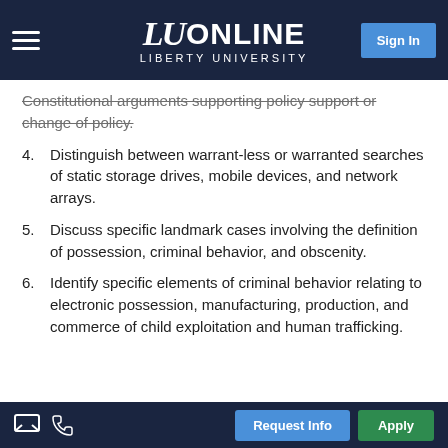LU ONLINE LIBERTY UNIVERSITY
Constitutional arguments supporting policy support or change of policy.
4. Distinguish between warrant-less or warranted searches of static storage drives, mobile devices, and network arrays.
5. Discuss specific landmark cases involving the definition of possession, criminal behavior, and obscenity.
6. Identify specific elements of criminal behavior relating to electronic possession, manufacturing, production, and commerce of child exploitation and human trafficking.
Request Info  Apply